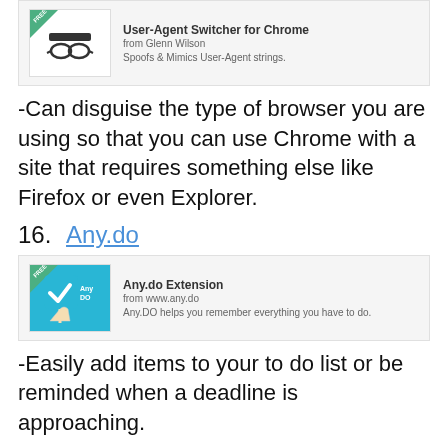[Figure (screenshot): Chrome extension card for User-Agent Switcher for Chrome. Shows a spy/glasses icon. From Glenn Wilson. Description: Spoofs & Mimics User-Agent strings.]
-Can disguise the type of browser you are using so that you can use Chrome with a site that requires something else like Firefox or even Explorer.
16.  Any.do
[Figure (screenshot): Chrome extension card for Any.do Extension. Shows AnyDO logo with checkmark and hand pointer. From www.any.do. Description: Any.DO helps you remember everything you have to do.]
-Easily add items to your to do list or be reminded when a deadline is approaching.
17.  Snagit by Techsmith
[Figure (screenshot): Chrome extension card for TechSmith Snagit (Extension). Shows a nature/lizard photo thumbnail. From TechSmith.]